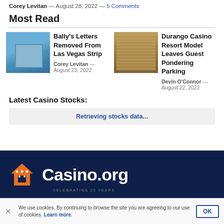Corey Levitan — August 28, 2022 — 5 Comments
Most Read
[Figure (photo): Bally's building exterior with blue sky]
Bally's Letters Removed From Las Vegas Strip
Corey Levitan — August 23, 2022
[Figure (photo): Aerial view of Durango Casino Resort model]
Durango Casino Resort Model Leaves Guest Pondering Parking
Devin O'Connor — August 22, 2022
Latest Casino Stocks:
Retrieving stocks data...
[Figure (logo): Casino.org logo on dark navy background with orange house/dice icon]
We use cookies. By continuing to browse the site you are agreeing to our use of cookies. Learn more.